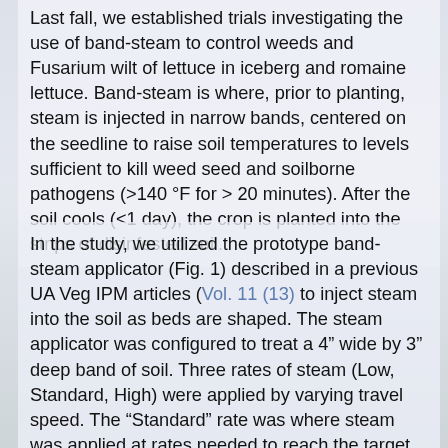Last fall, we established trials investigating the use of band-steam to control weeds and Fusarium wilt of lettuce in iceberg and romaine lettuce. Band-steam is where, prior to planting, steam is injected in narrow bands, centered on the seedline to raise soil temperatures to levels sufficient to kill weed seed and soilborne pathogens (>140 °F for > 20 minutes). After the soil cools (<1 day), the crop is planted into the strips of disinfested soil.
In the study, we utilized the prototype band-steam applicator (Fig. 1) described in a previous UA Veg IPM articles (Vol. 11 (13) to inject steam into the soil as beds are shaped. The steam applicator was configured to treat a 4" wide by 3" deep band of soil. Three rates of steam (Low, Standard, High) were applied by varying travel speed. The "Standard" rate was where steam was applied at rates needed to reach the target soil temperatures (>140 °F for > 20 minutes). Higher and lower applications rate were examined to ensure target temperatures were